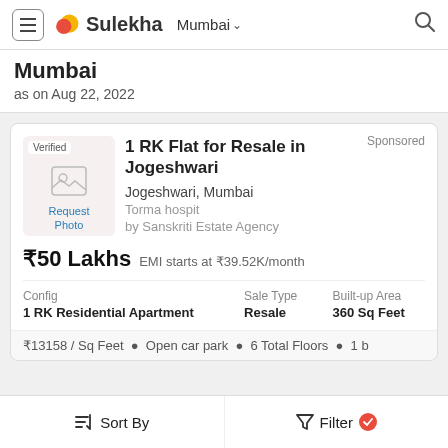Sulekha Mumbai
Mumbai
as on Aug 22, 2022
1 RK Flat for Resale in Jogeshwari
Jogeshwari, Mumbai
Torma hospit
by Sanskriti Estate Agency
₹50 Lakhs  EMI starts at ₹39.52K/month
| Config | Sale Type | Built-up Area |
| --- | --- | --- |
| 1 RK Residential Apartment | Resale | 360 Sq Feet |
₹13158 / Sq Feet  •  Open car park  •  6 Total Floors  •  1 b
Sort By   Filter